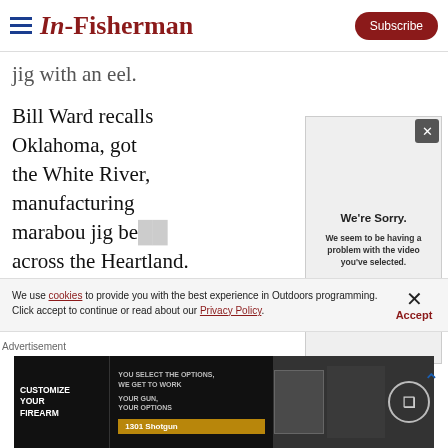In-Fisherman | Subscribe
jig with an eel.
Bill Ward recalls Oklahoma, got the White River, manufacturing marabou jig bec across the Heartland.
[Figure (screenshot): Video error overlay box reading 'We're Sorry. We seem to be having a problem with the video you've selected.' with a close (X) button]
We use cookies to provide you with the best experience in Outdoors programming. Click accept to continue or read about our Privacy Policy.
Advertisement
[Figure (photo): Advertisement banner: CUSTOMIZE YOUR FIREARM - YOU SELECT THE OPTIONS, WE GET TO WORK - YOUR GUN, YOUR OPTIONS - 1301 Shotgun]